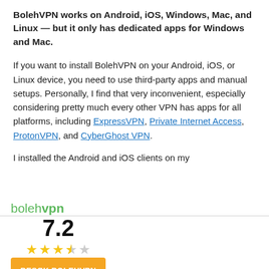BolehVPN works on Android, iOS, Windows, Mac, and Linux — but it only has dedicated apps for Windows and Mac.
If you want to install BolehVPN on your Android, iOS, or Linux device, you need to use third-party apps and manual setups. Personally, I find that very inconvenient, especially considering pretty much every other VPN has apps for all platforms, including ExpressVPN, Private Internet Access, ProtonVPN, and CyberGhost VPN.
I installed the Android and iOS clients on my
[Figure (other): BolehVPN footer bar with logo, rating 7.2 with 3.5 stars, and orange CTA button 'BESØK BOLEHVPN']